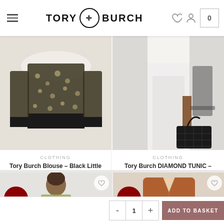Tory Burch
[Figure (photo): Tory Burch blouse with black and white leaf pattern on light background]
[Figure (photo): Person in white outfit holding a black quilted handbag, with a dark chair visible]
CLOTHING
Tory Burch Blouse – Black Little Leaves
£485.00  £95.99
CLOTHING
Tory Burch DIAMOND TUNIC – Tunic – White
£475.00  £93.99
[Figure (photo): Woman wearing a floral yellow-green dress, Sale badge visible]
[Figure (photo): Brown/tan jacket on light background, Sale badge visible]